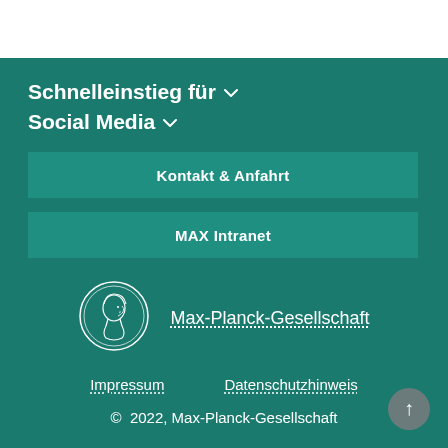Schnelleinstieg für ∨
Social Media ∨
Kontakt & Anfahrt
MAX Intranet
[Figure (logo): Max-Planck-Gesellschaft circular coin logo with profile of Minerva]
Max-Planck-Gesellschaft
Impressum
Datenschutzhinweis
© 2022, Max-Planck-Gesellschaft